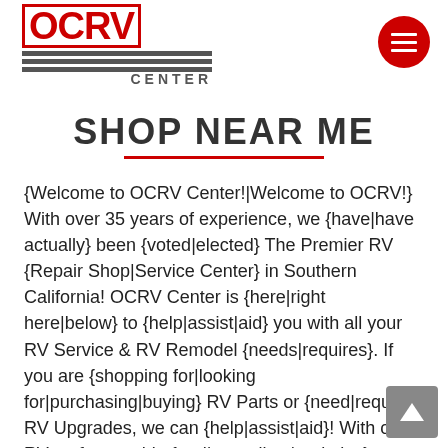OCRV CENTER logo and navigation
SHOP NEAR ME
{Welcome to OCRV Center!|Welcome to OCRV!} With over 35 years of experience, we {have|have actually} been {voted|elected} The Premier RV {Repair Shop|Service Center} in Southern California! OCRV Center is {here|right here|below} to {help|assist|aid} you with all your RV Service & RV Remodel {needs|requires}. If you are {shopping for|looking for|purchasing|buying} RV Parts or {need|require} RV Upgrades, we can {help|assist|aid}! With our RV craftsmanship {and|as well as|and also} certified RV Technicians, we {get the job done|finish the job|do the job} right, the {first time|very first time}! We can {help|assist|aid} you with {everything|whatever|every little thing} from RV AC